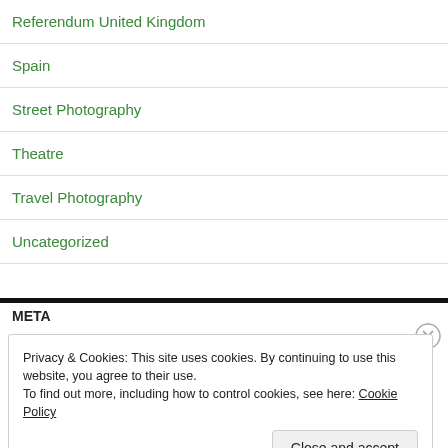Referendum United Kingdom
Spain
Street Photography
Theatre
Travel Photography
Uncategorized
META
Privacy & Cookies: This site uses cookies. By continuing to use this website, you agree to their use.
To find out more, including how to control cookies, see here: Cookie Policy